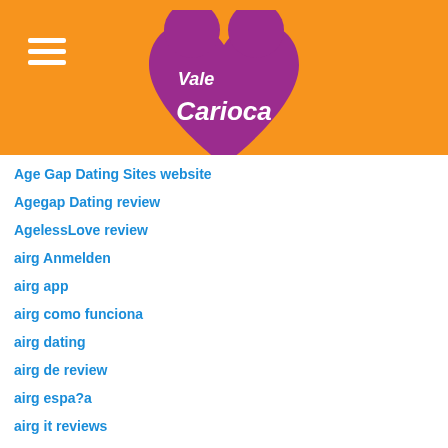[Figure (logo): Vale Carioca logo - pink heart shape with white text 'Vale Carioca' on orange background header]
Age Gap Dating Sites website
Agegap Dating review
AgelessLove review
airg Anmelden
airg app
airg como funciona
airg dating
airg de review
airg espa?a
airg it reviews
Airg jak to dzia?a
airg review
airg reviews
airg s'identifier